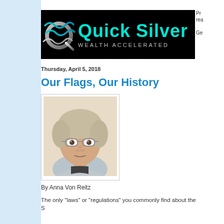[Figure (logo): Quick Silver Wealth Accelerated logo — black banner with teal/silver wave graphic on left and teal text 'Quick Silver' with grey subtitle 'WEALTH ACCELERATED']
Pr
rea
Ge
Thursday, April 5, 2018
Our Flags, Our History
[Figure (photo): Photo of Anna Von Reitz — older woman with short grey-blonde hair, glasses, wearing a light grey top, looking directly at camera]
By Anna Von Reitz
The only "laws" or "regulations" you commonly find about the S